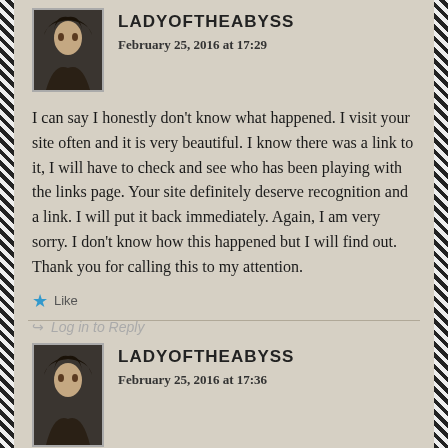LADYOFTHEABYSS — February 25, 2016 at 17:29
I can say I honestly don't know what happened. I visit your site often and it is very beautiful. I know there was a link to it, I will have to check and see who has been playing with the links page. Your site definitely deserve recognition and a link. I will put it back immediately. Again, I am very sorry. I don't know how this happened but I will find out. Thank you for calling this to my attention.
Like
Log in to Reply
LADYOFTHEABYSS — February 25, 2016 at 17:36